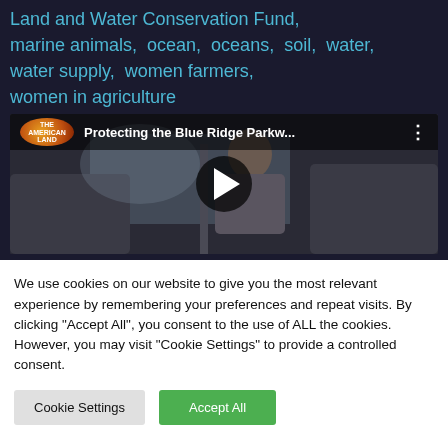Land and Water Conservation Fund, marine animals, ocean, oceans, soil, water, water supply, women farmers, women in agriculture
[Figure (screenshot): Embedded YouTube video thumbnail showing 'Protecting the Blue Ridge Parkw...' with a play button overlay and a person near a car]
We use cookies on our website to give you the most relevant experience by remembering your preferences and repeat visits. By clicking "Accept All", you consent to the use of ALL the cookies. However, you may visit "Cookie Settings" to provide a controlled consent.
Cookie Settings   Accept All